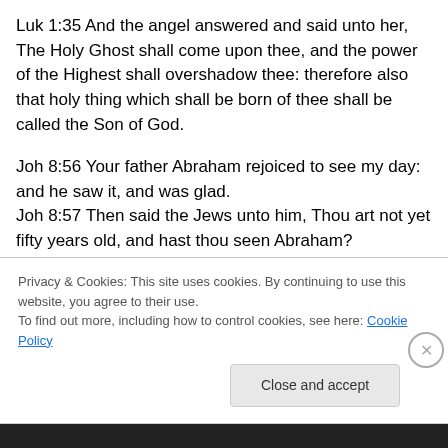Luk 1:35 And the angel answered and said unto her, The Holy Ghost shall come upon thee, and the power of the Highest shall overshadow thee: therefore also that holy thing which shall be born of thee shall be called the Son of God.
Joh 8:56 Your father Abraham rejoiced to see my day: and he saw it, and was glad.
Joh 8:57 Then said the Jews unto him, Thou art not yet fifty years old, and hast thou seen Abraham?
Joh 8:58 Jesus said unto them, Verily, verily, I say unto
Privacy & Cookies: This site uses cookies. By continuing to use this website, you agree to their use.
To find out more, including how to control cookies, see here: Cookie Policy
Close and accept